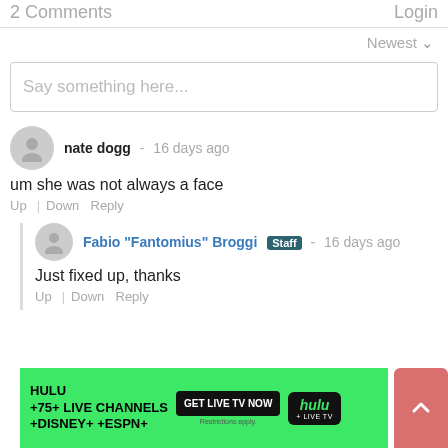2 Comments   Login
Newest ∨
Say something here...
nate dogg - 16 days ago
um she was not always a face
Up | Down   Reply
Fabio "Fantomius" Broggi Staff - 16 days ago
Just fixed up, thanks
Up | Down   Reply
[Figure (screenshot): Hulu advertisement banner: green background with text HULU +75+ LIVE CHANNELS +DISNEY+ +ESPN+, GET LIVE TV NOW button, and Hulu + Live TV logo]